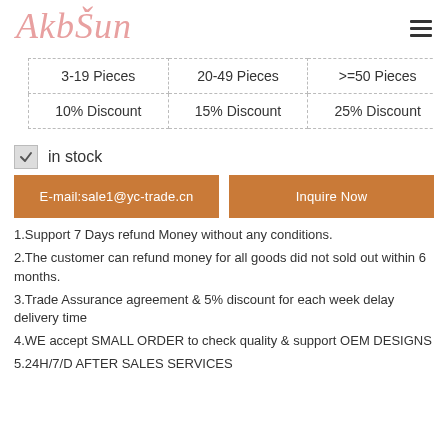[Figure (logo): AkbSun brand logo in pink italic cursive script with a hamburger menu icon on the right]
| 3-19 Pieces | 20-49 Pieces | >=50 Pieces |
| --- | --- | --- |
| 10% Discount | 15% Discount | 25% Discount |
✓ in stock
E-mail:sale1@yc-trade.cn
Inquire Now
1.Support 7 Days refund Money without any conditions.
2.The customer can refund money for all goods did not sold out within 6 months.
3.Trade Assurance agreement & 5% discount for each week delay delivery time
4.WE accept SMALL ORDER to check quality & support OEM DESIGNS
5.24H/7/D AFTER SALES SERVICES